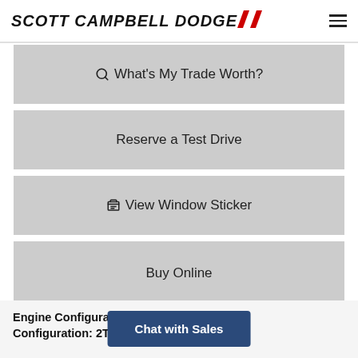SCOTT CAMPBELL DODGE
What's My Trade Worth?
Reserve a Test Drive
View Window Sticker
Buy Online
Engine Configuration: ERC  Package Configuration: 2T... n Configuration:
Chat with Sales